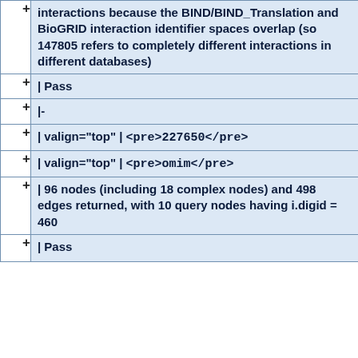| + | interactions because the BIND/BIND_Translation and BioGRID interaction identifier spaces overlap (so 147805 refers to completely different interactions in different databases) |
| + | | Pass |
| + | |- |
| + | | valign="top" | <pre>227650</pre> |
| + | | valign="top" | <pre>omim</pre> |
| + | | 96 nodes (including 18 complex nodes) and 498 edges returned, with 10 query nodes having i.digid = 460 |
| + | | Pass |